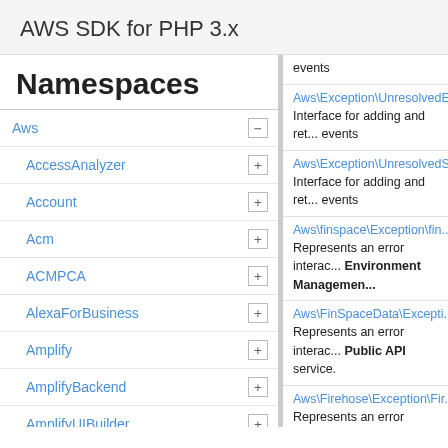AWS SDK for PHP 3.x
Namespaces
Aws
AccessAnalyzer
Account
Acm
ACMPCA
AlexaForBusiness
Amplify
AmplifyBackend
AmplifyUIBuilder
Api
ApiGateway
ApiGatewayManagementApi
events
Aws\Exception\UnresolvedE... Interface for adding and ret... events
Aws\Exception\UnresolvedS... Interface for adding and ret... events
Aws\finspace\Exception\fin... Represents an error interac... Environment Management...
Aws\FinSpaceData\Excepti... Represents an error interac... Public API service.
Aws\Firehose\Exception\Fir... Represents an error interac... Kinesis Firehose service.